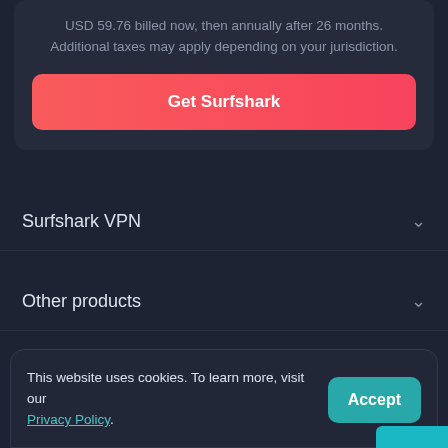USD 59.76 billed now, then annually after 26 months. Additional taxes may apply depending on your jurisdiction.
Get Surfshark
Surfshark VPN
Other products
Surfshark
This website uses cookies. To learn more, visit our Privacy Policy.
Accept